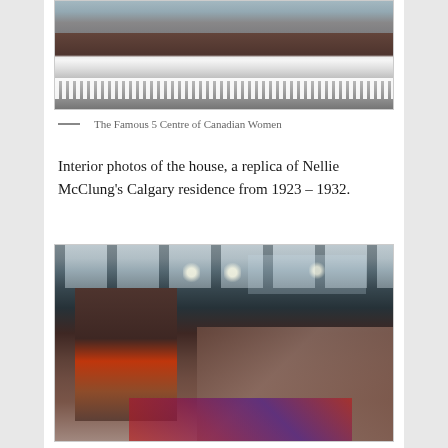[Figure (photo): Exterior photo of the Famous 5 Centre of Canadian Women building, showing a wooden structure with a white picket fence in the foreground]
— The Famous 5 Centre of Canadian Women
Interior photos of the house, a replica of Nellie McClung's Calgary residence from 1923 – 1932.
[Figure (photo): Interior photo showing a living room with a dark wood fireplace, brick hearth, beamed ceiling, pendant lights, and upholstered armchairs on a patterned rug]